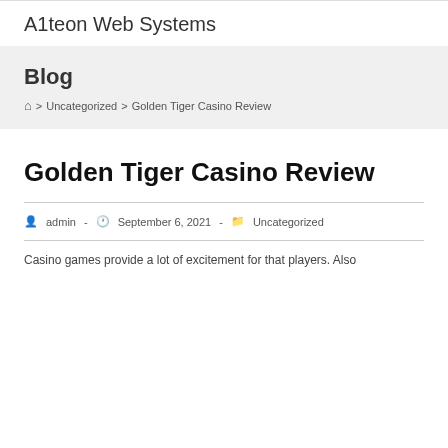A1teon Web Systems
Blog
Home > Uncategorized > Golden Tiger Casino Review
Golden Tiger Casino Review
admin  -  September 6, 2021  -  Uncategorized
Casino games provide a lot of excitement for that players. Also